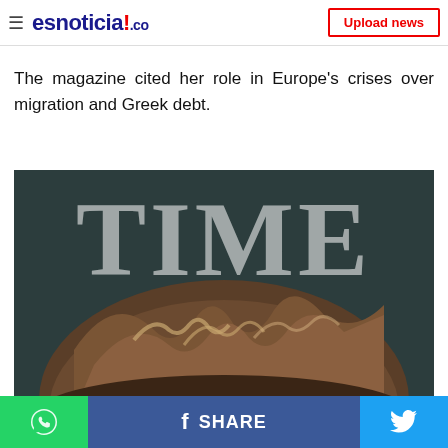esnoticia!.co — Upload news
The magazine cited her role in Europe's crises over migration and Greek debt.
[Figure (photo): TIME magazine cover showing the top of a person's head with blonde/brown hair against a dark background, with the large white TIME logo overlaid]
WhatsApp share | f SHARE | Twitter share